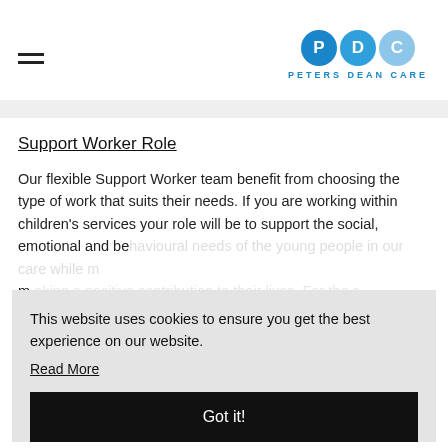PDC PETERS DEAN CARE
Support Worker Role
Our flexible Support Worker team benefit from choosing the type of work that suits their needs. If you are working within children's services your role will be to support the social, emotional and behavioural needs of the young people in our care, making a positive contribution to their lives. For the children, the day to day activities will be similar and may require you to provide personal care (even nappies), chair care and some of the start wide roles to all settings will involve some light domestic duties. Shift times vary considerably
This website uses cookies to ensure you get the best experience on our website.
Read More
Got it!